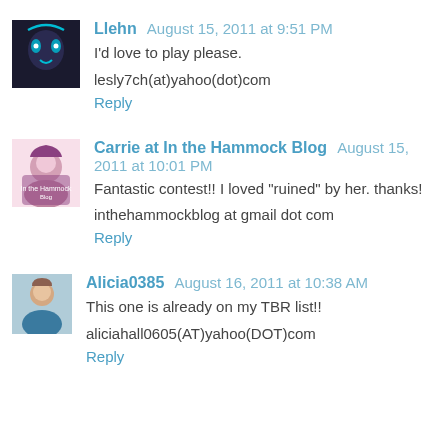Llehn  August 15, 2011 at 9:51 PM
I'd love to play please.
lesly7ch(at)yahoo(dot)com
Reply
Carrie at In the Hammock Blog  August 15, 2011 at 10:01 PM
Fantastic contest!! I loved "ruined" by her. thanks!
inthehammockblog at gmail dot com
Reply
Alicia0385  August 16, 2011 at 10:38 AM
This one is already on my TBR list!!
aliciahall0605(AT)yahoo(DOT)com
Reply